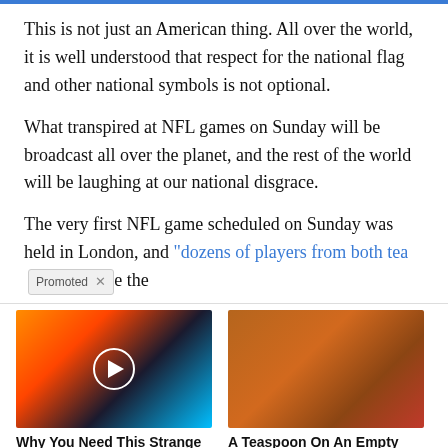This is not just an American thing. All over the world, it is well understood that respect for the national flag and other national symbols is not optional.
What transpired at NFL games on Sunday will be broadcast all over the planet, and the rest of the world will be laughing at our national disgrace.
The very first NFL game scheduled on Sunday was held in London, and "dozens of players from both tea..." [Promoted] e the
[Figure (photo): Promotional ad image showing a colorful solar/magnetic field visualization with a play button overlay. Caption: Why You Need This Strange Device When The Grid Goes Down. Engagement: 3,034]
[Figure (photo): Promotional ad image showing a person with visible abs and a spice/powder. Caption: A Teaspoon On An Empty Stomach Burns Fat Like Crazy!. Engagement: 140,981]